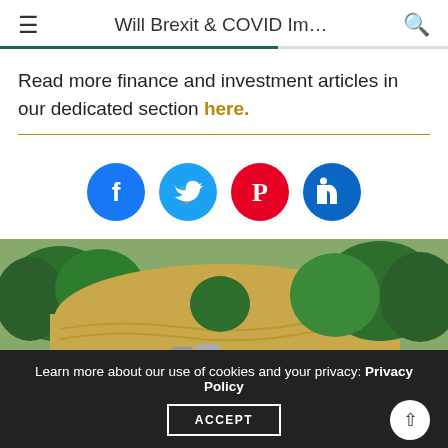Will Brexit & COVID Im…
Read more finance and investment articles in our dedicated section here.
[Figure (illustration): Social media share buttons: Facebook, Twitter, Pinterest, LinkedIn]
[Figure (photo): Aerial landscape photo showing green trees and a harvested field in the English countryside]
Learn more about our use of cookies and your privacy: Privacy Policy  ACCEPT